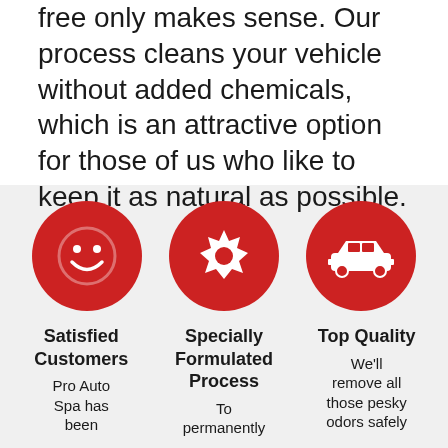free only makes sense. Our process cleans your vehicle without added chemicals, which is an attractive option for those of us who like to keep it as natural as possible.
[Figure (infographic): Three red circular icons in a row on a light grey background. Left: smiley face icon labeled 'Satisfied Customers' with subtext 'Pro Auto Spa has been'. Middle: starburst/badge icon labeled 'Specially Formulated Process' with subtext 'To permanently'. Right: car icon labeled 'Top Quality' with subtext 'We'll remove all those pesky odors safely'.]